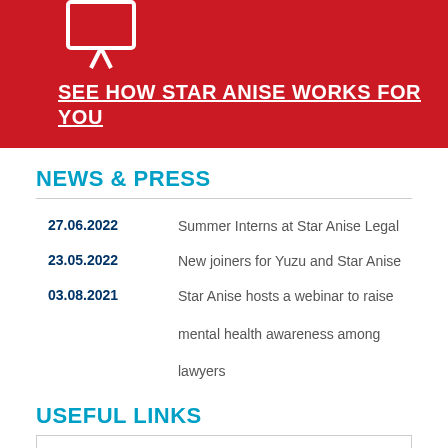[Figure (illustration): Red banner with a white monitor/screen icon showing legs like a stand, with the text SEE HOW STAR ANISE WORKS FOR YOU in white bold underlined uppercase letters.]
NEWS & PRESS
27.06.2022 — Summer Interns at Star Anise Legal
23.05.2022 — New joiners for Yuzu and Star Anise
03.08.2021 — Star Anise hosts a webinar to raise mental health awareness among lawyers
USEFUL LINKS